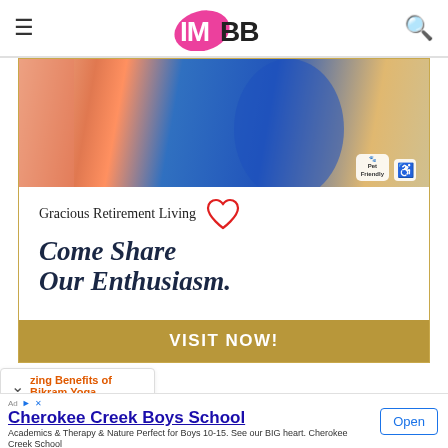IMBB (I Must Be Beautiful) - website header with hamburger menu and search icon
[Figure (photo): Retirement living facility photo showing person in blue top with pet friendly and handicap accessibility badges]
Gracious Retirement Living
Come Share Our Enthusiasm.
VISIT NOW!
zing Benefits of Bikram Yoga
Cherokee Creek Boys School
Academics & Therapy & Nature Perfect for Boys 10-15. See our BIG heart. Cherokee Creek School
Open